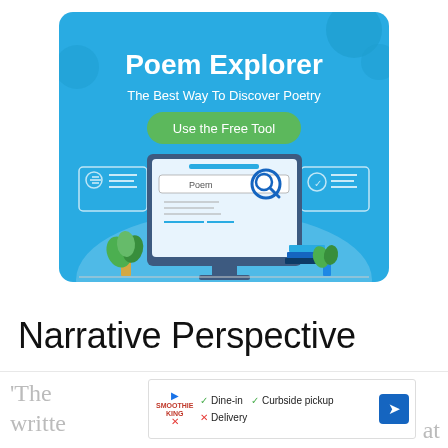[Figure (illustration): Poem Explorer advertisement banner with blue background, showing a computer monitor with a poem search interface, a magnifying glass, decorative plants, and books. Text reads 'Poem Explorer', 'The Best Way To Discover Poetry', and a green button 'Use the Free Tool'.]
Narrative Perspective
'The... writte...